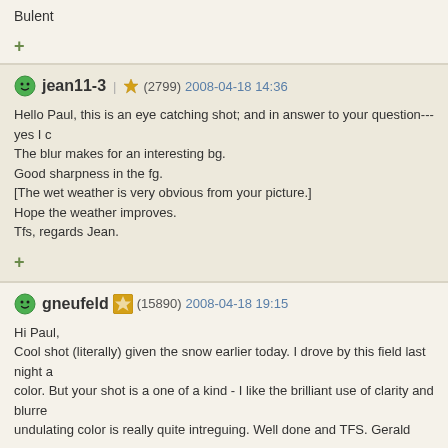Bulent
+
jean11-3 | ★ (2799) 2008-04-18 14:36
Hello Paul, this is an eye catching shot; and in answer to your question---yes I c
The blur makes for an interesting bg.
Good sharpness in the fg.
[The wet weather is very obvious from your picture.]
Hope the weather improves.
Tfs, regards Jean.
+
gneufeld ★ (15890) 2008-04-18 19:15
Hi Paul,
Cool shot (literally) given the snow earlier today. I drove by this field last night a
color. But your shot is a one of a kind - I like the brilliant use of clarity and blurre
undulating color is really quite intreguing. Well done and TFS. Gerald
jjcordier ★ (79299) 2008-04-18 22:22